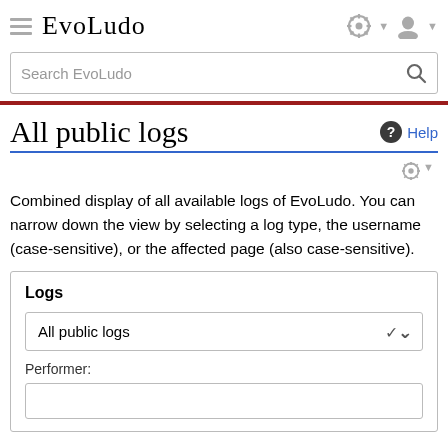EvoLudo
Combined display of all available logs of EvoLudo. You can narrow down the view by selecting a log type, the username (case-sensitive), or the affected page (also case-sensitive).
All public logs
Logs
All public logs (dropdown)
Performer: